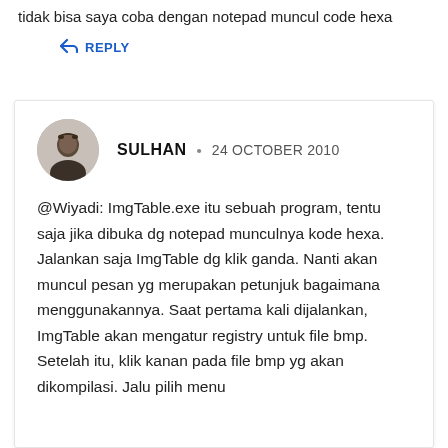tidak bisa saya coba dengan notepad muncul code hexa
REPLY
SULHAN • 24 OCTOBER 2010
@Wiyadi: ImgTable.exe itu sebuah program, tentu saja jika dibuka dg notepad munculnya kode hexa. Jalankan saja ImgTable dg klik ganda. Nanti akan muncul pesan yg merupakan petunjuk bagaimana menggunakannya. Saat pertama kali dijalankan, ImgTable akan mengatur registry untuk file bmp. Setelah itu, klik kanan pada file bmp yg akan dikompilasi. Jalu pilih menu